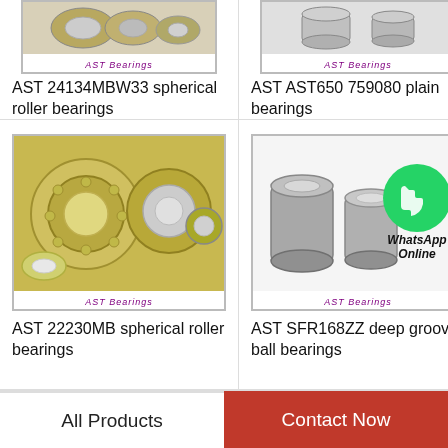[Figure (photo): AST 24134MBW33 spherical roller bearing product image with AST Bearings watermark]
AST 24134MBW33 spherical roller bearings
[Figure (photo): AST AST650 759080 plain bearing product image with AST Bearings watermark]
AST AST650 759080 plain bearings
[Figure (photo): AST 22230MB spherical roller bearing product image with AST Bearings watermark]
AST 22230MB spherical roller bearings
[Figure (photo): AST SFR168ZZ deep groove ball bearing product image with WhatsApp Online badge and AST Bearings watermark]
AST SFR168ZZ deep groove ball bearings
All Products
Contact Now